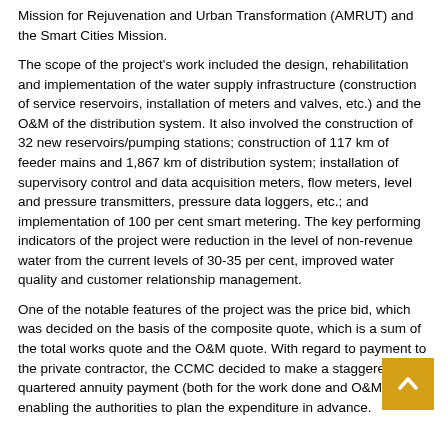Mission for Rejuvenation and Urban Transformation (AMRUT) and the Smart Cities Mission.
The scope of the project's work included the design, rehabilitation and implementation of the water supply infrastructure (construction of service reservoirs, installation of meters and valves, etc.) and the O&M of the distribution system. It also involved the construction of 32 new reservoirs/pumping stations; construction of 117 km of feeder mains and 1,867 km of distribution system; installation of supervisory control and data acquisition meters, flow meters, level and pressure transmitters, pressure data loggers, etc.; and implementation of 100 per cent smart metering. The key performing indicators of the project were reduction in the level of non-revenue water from the current levels of 30-35 per cent, improved water quality and customer relationship management.
One of the notable features of the project was the price bid, which was decided on the basis of the composite quote, which is a sum of the total works quote and the O&M quote. With regard to payment to the private contractor, the CCMC decided to make a staggered quartered annuity payment (both for the work done and O&M), enabling the authorities to plan the expenditure in advance.